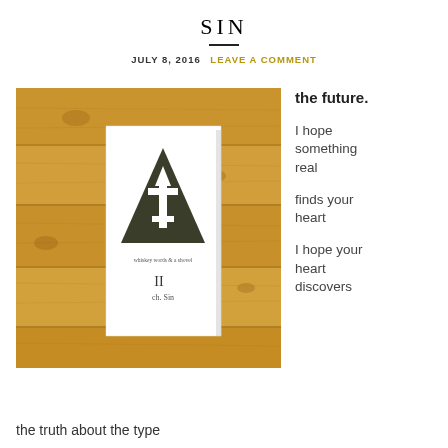SIN
JULY 8, 2016  LEAVE A COMMENT
[Figure (photo): A white book with a dark triangle symbol containing a cross/arrow icon on a wooden plank background. The book cover reads 'whiskey words & a shovel' and 'II ch. Sin'.]
the future.

I hope something real

finds your heart

I hope your heart discovers
the truth about the type